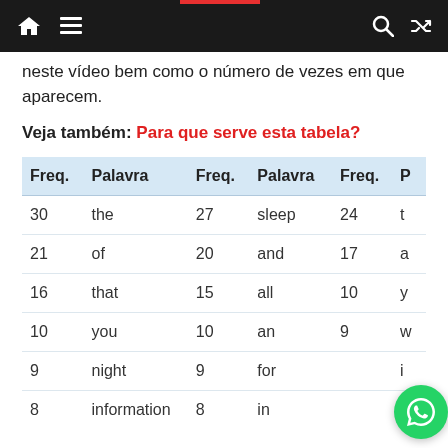Navigation bar with home, menu, search, shuffle icons
neste vídeo bem como o número de vezes em que aparecem.
Veja também: Para que serve esta tabela?
| Freq. | Palavra | Freq. | Palavra | Freq. | P |
| --- | --- | --- | --- | --- | --- |
| 30 | the | 27 | sleep | 24 | t |
| 21 | of | 20 | and | 17 | a |
| 16 | that | 15 | all | 10 | y |
| 10 | you | 10 | an | 9 | w |
| 9 | night | 9 | for |  | i |
| 8 | information | 8 | in |  | t |